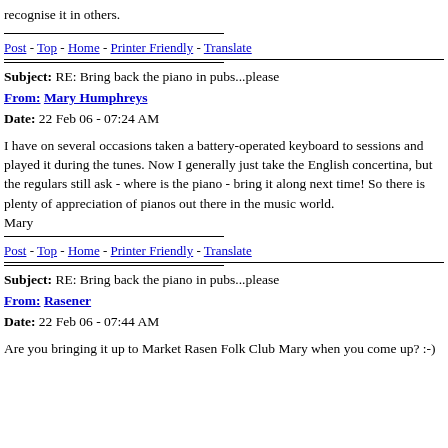recognise it in others.
Post - Top - Home - Printer Friendly - Translate
Subject: RE: Bring back the piano in pubs...please
From: Mary Humphreys
Date: 22 Feb 06 - 07:24 AM
I have on several occasions taken a battery-operated keyboard to sessions and played it during the tunes. Now I generally just take the English concertina, but the regulars still ask - where is the piano - bring it along next time! So there is plenty of appreciation of pianos out there in the music world.
Mary
Post - Top - Home - Printer Friendly - Translate
Subject: RE: Bring back the piano in pubs...please
From: Rasener
Date: 22 Feb 06 - 07:44 AM
Are you bringing it up to Market Rasen Folk Club Mary when you come up? :-)